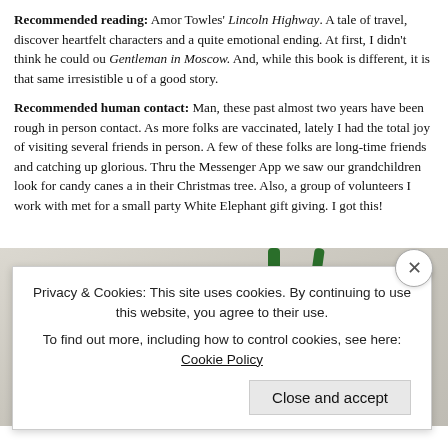Recommended reading: Amor Towles' Lincoln Highway. A tale of travel, discovery, heartfelt characters and a quite emotional ending. At first, I didn't think he could outdo Gentleman in Moscow. And, while this book is different, it is that same irresistible urge of a good story.
Recommended human contact: Man, these past almost two years have been rough on in person contact. As more folks are vaccinated, lately I had the total joy of visiting several friends in person. A few of these folks are long-time friends and catching up is glorious. Thru the Messenger App we saw our grandchildren look for candy canes and in their Christmas tree. Also, a group of volunteers I work with met for a small party with White Elephant gift giving. I got this!
[Figure (photo): A wooden Christmas ornament with a green ribbon/bow on a white background. The ornament appears to be a round wooden disk decorated with a dark painted design.]
Privacy & Cookies: This site uses cookies. By continuing to use this website, you agree to their use.
To find out more, including how to control cookies, see here: Cookie Policy